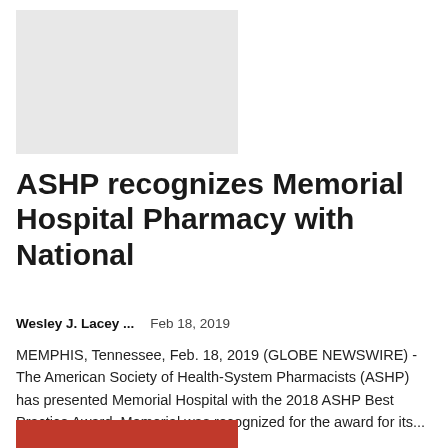[Figure (photo): Placeholder image (light gray rectangle) for an article photo]
ASHP recognizes Memorial Hospital Pharmacy with National
Wesley J. Lacey ...    Feb 18, 2019
MEMPHIS, Tennessee, Feb. 18, 2019 (GLOBE NEWSWIRE) - The American Society of Health-System Pharmacists (ASHP) has presented Memorial Hospital with the 2018 ASHP Best Practice Award. Memorial was recognized for the award for its...
[Figure (photo): Partial photo visible at the bottom of the page, appears to show people]